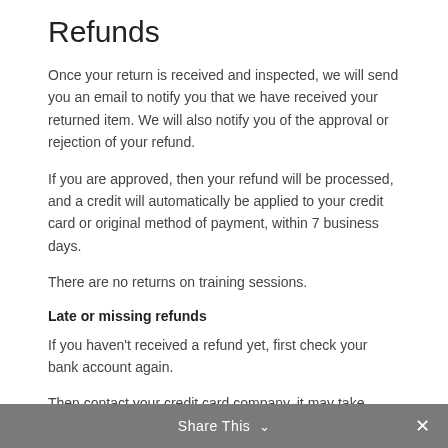Refunds
Once your return is received and inspected, we will send you an email to notify you that we have received your returned item. We will also notify you of the approval or rejection of your refund.
If you are approved, then your refund will be processed, and a credit will automatically be applied to your credit card or original method of payment, within 7 business days.
There are no returns on training sessions.
Late or missing refunds
If you haven't received a refund yet, first check your bank account again.
Then contact your credit card company, it may take some time before your refund is officially posted.
Share This ∨ ✕